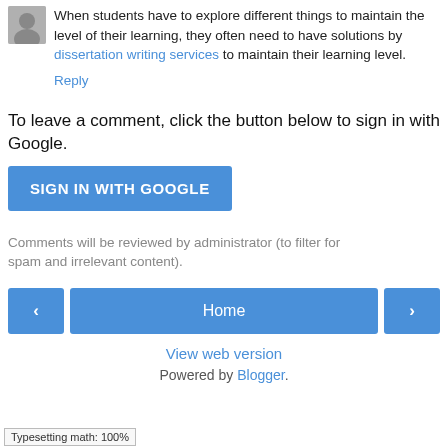When students have to explore different things to maintain the level of their learning, they often need to have solutions by dissertation writing services to maintain their learning level.
Reply
To leave a comment, click the button below to sign in with Google.
[Figure (other): Blue button labeled SIGN IN WITH GOOGLE]
Comments will be reviewed by administrator (to filter for spam and irrelevant content).
[Figure (other): Navigation bar with left arrow, Home button, and right arrow]
View web version
Powered by Blogger.
Typesetting math: 100%